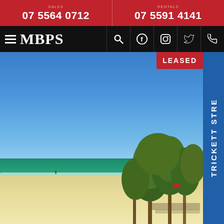07 5564 0712 | 07 5591 4141
[Figure (logo): MBPS real estate agency logo with hamburger menu and social media icons (search, Facebook, Instagram, Twitter, phone) on black navigation bar]
[Figure (photo): Aerial or elevated view of a beach with turquoise ocean, white sandy beach, trees in foreground-right, clear blue sky. A 'LEASED' badge in red is shown top-right, and a vertical blue strip on the far right reads 'TRICKETT STRE'.]